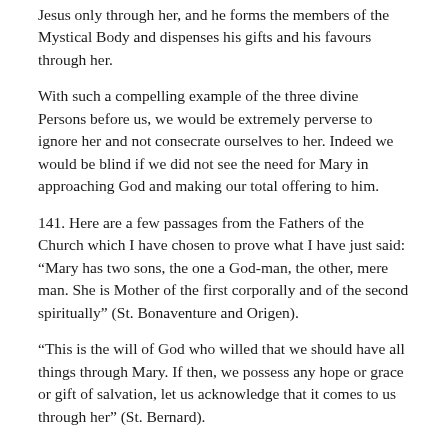Jesus only through her, and he forms the members of the Mystical Body and dispenses his gifts and his favours through her.
With such a compelling example of the three divine Persons before us, we would be extremely perverse to ignore her and not consecrate ourselves to her. Indeed we would be blind if we did not see the need for Mary in approaching God and making our total offering to him.
141. Here are a few passages from the Fathers of the Church which I have chosen to prove what I have just said: “Mary has two sons, the one a God-man, the other, mere man. She is Mother of the first corporally and of the second spiritually” (St. Bonaventure and Origen).
“This is the will of God who willed that we should have all things through Mary. If then, we possess any hope or grace or gift of salvation, let us acknowledge that it comes to us through her” (St. Bernard).